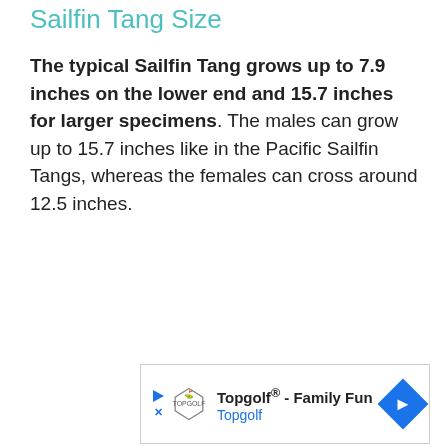Sailfin Tang Size
The typical Sailfin Tang grows up to 7.9 inches on the lower end and 15.7 inches for larger specimens. The males can grow up to 15.7 inches like in the Pacific Sailfin Tangs, whereas the females can cross around 12.5 inches.
[Figure (other): Advertisement banner for Topgolf showing logo, play button, text 'Topgolf® - Family Fun' and 'Topgolf', with a blue directional arrow icon on the right.]